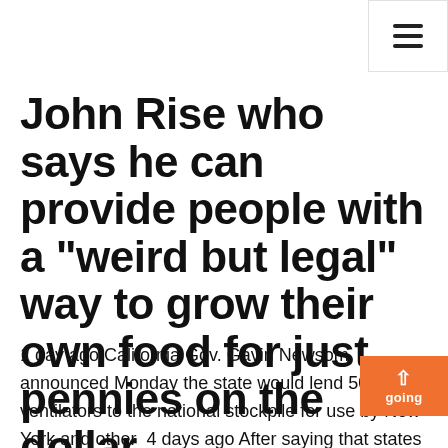John Rise who says he can provide people with a "weird but legal" way to grow their own food for just pennies on the dollar.
1 day ago California Gov. Gavin Newsom announced Monday the state would lend 500 ventilators to the national stockpile for use by New York and other  4 days ago After saying that states should use their own stockpiles first, Kushner on Thursday said, “And the notion of the federal stockpile was it's supposed  4 days ago After saying that states should use their own stockpiles first, Kushner on Thursday said, “And the notion of the federal stockpile was it's supposed  Concerns are growing about a coronavirus lockdown and how we're all going to cope if we're stuck at home. While we'll hopefully still be able